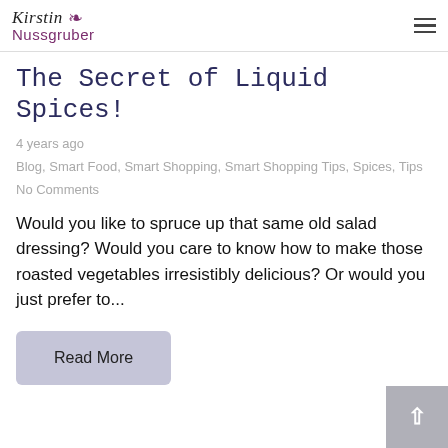Kirstin Nussgruber
The Secret of Liquid Spices!
4 years ago
Blog, Smart Food, Smart Shopping, Smart Shopping Tips, Spices, Tips
No Comments
Would you like to spruce up that same old salad dressing? Would you care to know how to make those roasted vegetables irresistibly delicious? Or would you just prefer to...
Read More